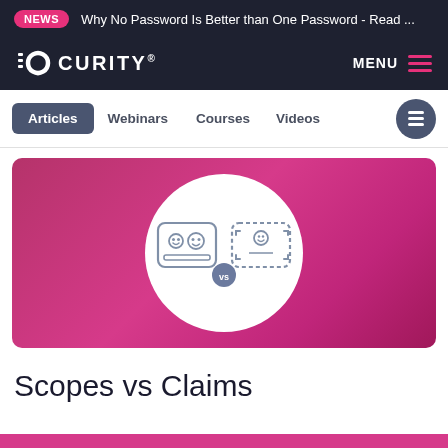NEWS  Why No Password Is Better than One Password - Read ...
[Figure (logo): Curity logo with stylized C icon and CURITY wordmark in white on dark background, with MENU hamburger button on right]
Articles  Webinars  Courses  Videos
[Figure (illustration): Pink/magenta hero banner with white circle containing two card icons side by side with a 'vs' badge between them — representing Scopes vs Claims concept]
Scopes vs Claims